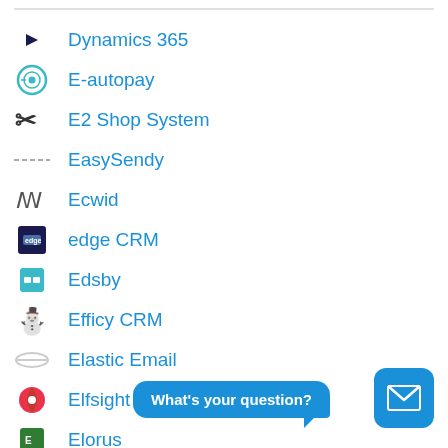Dynamics 365
E-autopay
E2 Shop System
EasySendy
Ecwid
edge CRM
Edsby
Efficy CRM
Elastic Email
Elfsight
Elorus
What's your question?